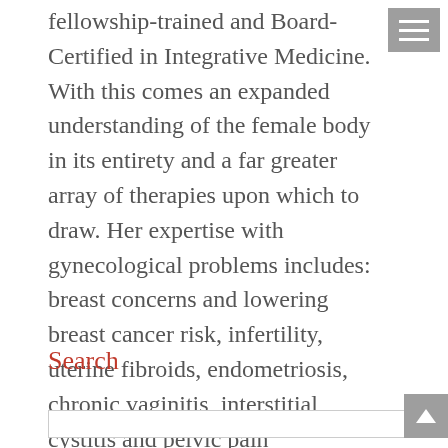fellowship-trained and Board-Certified in Integrative Medicine. With this comes an expanded understanding of the female body in its entirety and a far greater array of therapies upon which to draw. Her expertise with gynecological problems includes: breast concerns and lowering breast cancer risk, infertility, uterine fibroids, endometriosis, chronic vaginitis, interstitial cystitis and pelvic pain syndromes, menstrual irregularity and cramps, painful intercourse, loss of sexual interest and response, menopausal issues, and PMS, among others.
Search